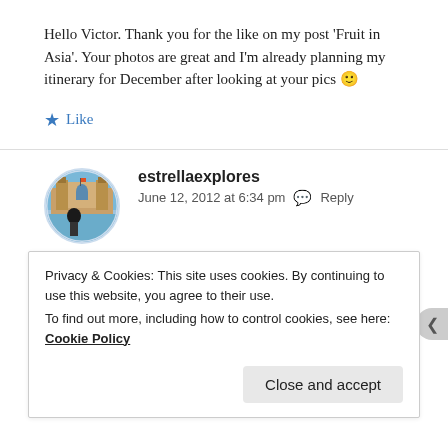Hello Victor. Thank you for the like on my post 'Fruit in Asia'. Your photos are great and I'm already planning my itinerary for December after looking at your pics 🙂
★ Like
[Figure (photo): Circular avatar photo of estrellaexplores showing a historic plaza (Plaza de España) with a woman in the foreground]
estrellaexplores
June 12, 2012 at 6:34 pm  Reply
Privacy & Cookies: This site uses cookies. By continuing to use this website, you agree to their use.
To find out more, including how to control cookies, see here: Cookie Policy
Close and accept